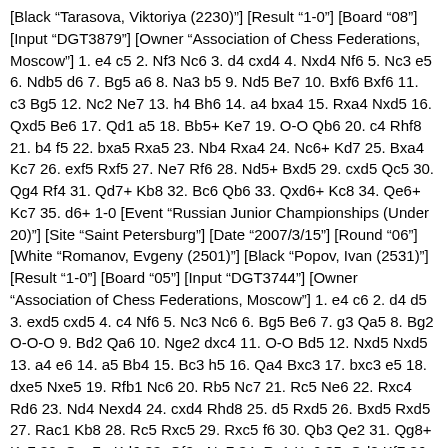[Black "Tarasova, Viktoriya (2230)"] [Result "1-0"] [Board "08"] [Input "DGT3879"] [Owner "Association of Chess Federations, Moscow"] 1. e4 c5 2. Nf3 Nc6 3. d4 cxd4 4. Nxd4 Nf6 5. Nc3 e5 6. Ndb5 d6 7. Bg5 a6 8. Na3 b5 9. Nd5 Be7 10. Bxf6 Bxf6 11. c3 Bg5 12. Nc2 Ne7 13. h4 Bh6 14. a4 bxa4 15. Rxa4 Nxd5 16. Qxd5 Be6 17. Qd1 a5 18. Bb5+ Ke7 19. O-O Qb6 20. c4 Rhf8 21. b4 f5 22. bxa5 Rxa5 23. Nb4 Rxa4 24. Nc6+ Kd7 25. Bxa4 Kc7 26. exf5 Rxf5 27. Ne7 Rf6 28. Nd5+ Bxd5 29. cxd5 Qc5 30. Qg4 Rf4 31. Qd7+ Kb8 32. Bc6 Qb6 33. Qxd6+ Kc8 34. Qe6+ Kc7 35. d6+ 1-0 [Event "Russian Junior Championships (Under 20)"] [Site "Saint Petersburg"] [Date "2007/3/15"] [Round "06"] [White "Romanov, Evgeny (2501)"] [Black "Popov, Ivan (2531)"] [Result "1-0"] [Board "05"] [Input "DGT3744"] [Owner "Association of Chess Federations, Moscow"] 1. e4 c6 2. d4 d5 3. exd5 cxd5 4. c4 Nf6 5. Nc3 Nc6 6. Bg5 Be6 7. g3 Qa5 8. Bg2 O-O-O 9. Bd2 Qa6 10. Nge2 dxc4 11. O-O Bd5 12. Nxd5 Nxd5 13. a4 e6 14. a5 Bb4 15. Bc3 h5 16. Qa4 Bxc3 17. bxc3 e5 18. dxe5 Nxe5 19. Rfb1 Nc6 20. Rb5 Nc7 21. Rc5 Ne6 22. Rxc4 Rd6 23. Nd4 Nexd4 24. cxd4 Rhd8 25. d5 Rxd5 26. Bxd5 Rxd5 27. Rac1 Kb8 28. Rc5 Rxc5 29. Rxc5 f6 30. Qb3 Qe2 31. Qg8+ Kc7 32. Qxg7+ Kd6 33. Qf8+ Ne7 34. Rc1 Ke6 35. Qd8 Kf7 36. Qd1 Qb5 37. Rb1 Qxa5 38. Rxb7 Qc5 39. h4 a5 40. Qe2 1-0 [Event "Russian Junior Championships (Under 20)"] [Site "Saint Petersburg"] [Date "2007/3/15"] [Round "06"] [White "Lysyj, Igor (2576)"] [Black "Khairullin, Ildar (2586)"] [Result "1/2-1/2"] [Board "03"] [Input "DGT5150"]